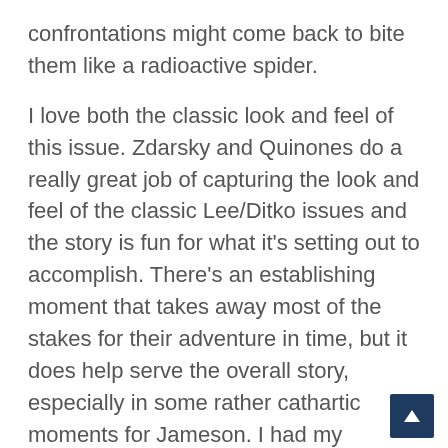confrontations might come back to bite them like a radioactive spider.
I love both the classic look and feel of this issue. Zdarsky and Quinones do a really great job of capturing the look and feel of the classic Lee/Ditko issues and the story is fun for what it's setting out to accomplish. There's an establishing moment that takes away most of the stakes for their adventure in time, but it does help serve the overall story, especially in some rather cathartic moments for Jameson. I had my misgivings about Jameson knowing that Peter is Spider-Man, but the humanity that revelation has brought out in him has made him a more well-rounded character.
I think not having the Tinkerer in this issue was a